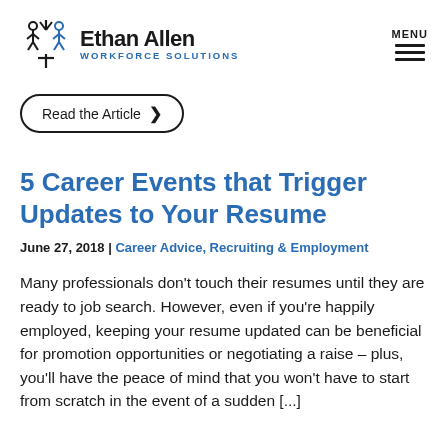Ethan Allen WORKFORCE SOLUTIONS | MENU
Read the Article
5 Career Events that Trigger Updates to Your Resume
June 27, 2018 | Career Advice, Recruiting & Employment
Many professionals don't touch their resumes until they are ready to job search. However, even if you're happily employed, keeping your resume updated can be beneficial for promotion opportunities or negotiating a raise – plus, you'll have the peace of mind that you won't have to start from scratch in the event of a sudden [...]